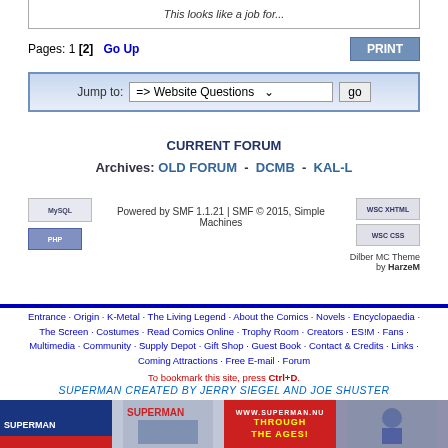This looks like a job for...
Pages: 1 [2]   Go Up
Jump to: => Website Questions   go
CURRENT FORUM
Archives: OLD FORUM  -  DCMB  -  KAL-L
Powered by SMF 1.1.21 | SMF © 2015, Simple Machines
Dilber MC Theme by HarzeM
Entrance · Origin · K-Metal · The Living Legend · About the Comics · Novels · Encyclopaedia · The Screen · Costumes · Read Comics Online · Trophy Room · Creators · ES!M · Fans · Multimedia · Community · Supply Depot · Gift Shop · Guest Book · Contact & Credits · Links · Coming Attractions · Free E-mail · Forum
To bookmark this site, press Ctrl+D.
SUPERMAN CREATED BY JERRY SIEGEL AND JOE SHUSTER
[Figure (screenshot): Superman website banner with images and www.superman.nu URL]